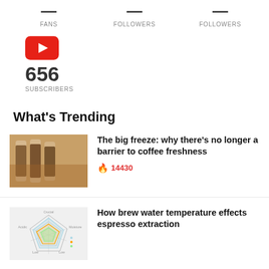FANS
FOLLOWERS
FOLLOWERS
[Figure (logo): YouTube red logo icon]
656
SUBSCRIBERS
What's Trending
[Figure (photo): Coffee beans in test tubes on a wooden surface]
The big freeze: why there's no longer a barrier to coffee freshness
🔥 14430
[Figure (radar-chart): Radar/spider chart showing coffee flavor profile attributes]
How brew water temperature effects espresso extraction